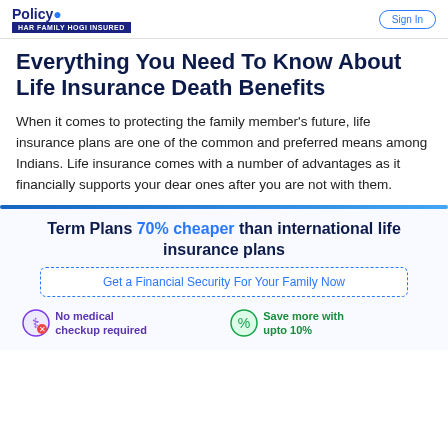HAR FAMILY HOGI INSURED | Sign in
Everything You Need To Know About Life Insurance Death Benefits
When it comes to protecting the family member's future, life insurance plans are one of the common and preferred means among Indians. Life insurance comes with a number of advantages as it financially supports your dear ones after you are not with them.
Term Plans 70% cheaper than international life insurance plans
Get a Financial Security For Your Family Now
No medical checkup required
Save more with upto 10%